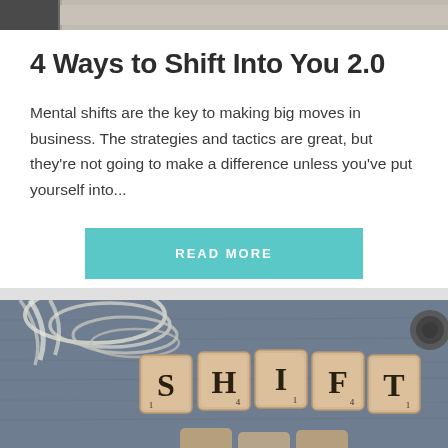[Figure (photo): Top strip showing a partial photograph, appears to be a blurred background image at the top of an article card]
4 Ways to Shift Into You 2.0
Mental shifts are the key to making big moves in business. The strategies and tactics are great, but they're not going to make a difference unless you've put yourself into...
READ MORE
[Figure (photo): Scrabble tiles spelling out SHIFT on a grey textured surface, with a stethoscope visible in the background]